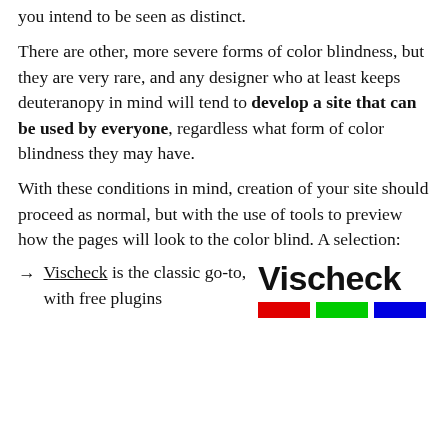you intend to be seen as distinct.
There are other, more severe forms of color blindness, but they are very rare, and any designer who at least keeps deuteranopy in mind will tend to develop a site that can be used by everyone, regardless what form of color blindness they may have.
With these conditions in mind, creation of your site should proceed as normal, but with the use of tools to preview how the pages will look to the color blind. A selection:
→ Vischeck is the classic go-to, with free plugins
[Figure (logo): Vischeck logo with bold text 'Vischeck' and three colored bars: red, green, blue]